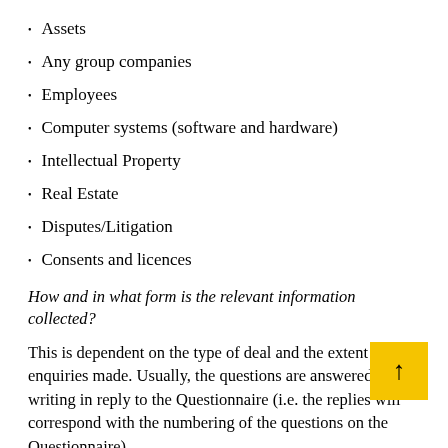Assets
Any group companies
Employees
Computer systems (software and hardware)
Intellectual Property
Real Estate
Disputes/Litigation
Consents and licences
How and in what form is the relevant information collected?
This is dependent on the type of deal and the extent of the enquiries made. Usually, the questions are answered in writing in reply to the Questionnaire (i.e. the replies will correspond with the numbering of the questions on the Questionnaire).